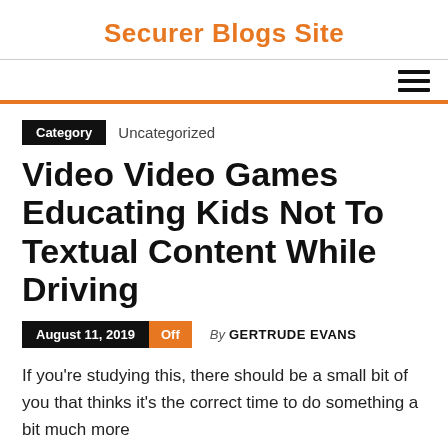Securer Blogs Site
Category  Uncategorized
Video Video Games Educating Kids Not To Textual Content While Driving
August 11, 2019  Off  By GERTRUDE EVANS
If you're studying this, there should be a small bit of you that thinks it's the correct time to do something a bit much more